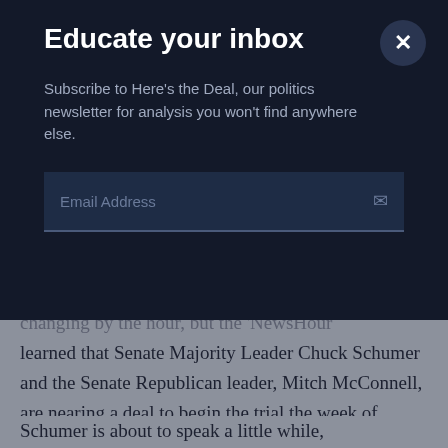Educate your inbox
Subscribe to Here's the Deal, our politics newsletter for analysis you won't find anywhere else.
Email Address
changing by the hour, but the 'NewsHour learned that Senate Majority Leader Chuck Schumer and the Senate Republican leader, Mitch McConnell, are nearing a deal to begin the trial the week of February 8.
Schumer is about to speak a little while, momentarily even, on the Senate floor to provide more details. There's still a lot we don't know, how long will it last, whether there will be witnesses or not. Those